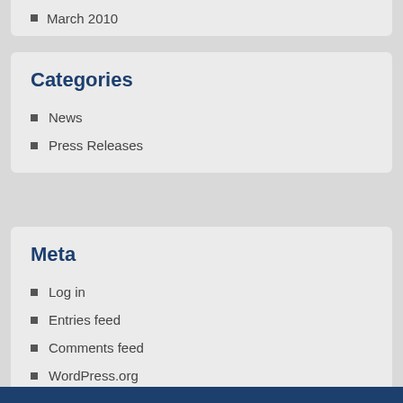March 2010
Categories
News
Press Releases
Meta
Log in
Entries feed
Comments feed
WordPress.org